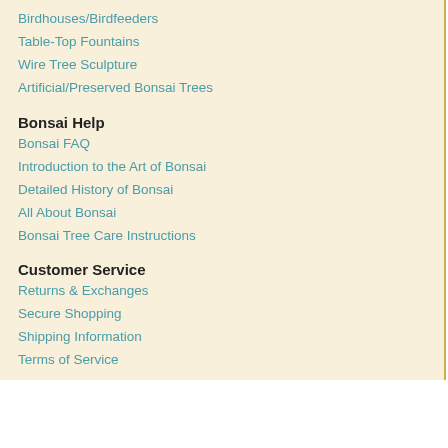Birdhouses/Birdfeeders
Table-Top Fountains
Wire Tree Sculpture
Artificial/Preserved Bonsai Trees
Bonsai Help
Bonsai FAQ
Introduction to the Art of Bonsai
Detailed History of Bonsai
All About Bonsai
Bonsai Tree Care Instructions
Customer Service
Returns & Exchanges
Secure Shopping
Shipping Information
Terms of Service
[Figure (logo): Like us on Facebook button with Facebook logo icon]